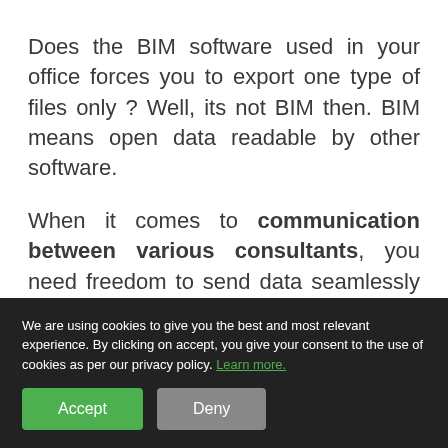Does the BIM software used in your office forces you to export one type of files only ? Well, its not BIM then. BIM means open data readable by other software.
When it comes to communication between various consultants, you need freedom to send data seamlessly in the file format they want and not
seamless collaboration, transparent quality assurance, and accessible data, ready to be
We are using cookies to give you the best and most relevant experience. By clicking on accept, you give your consent to the use of cookies as per our privacy policy. Learn more.